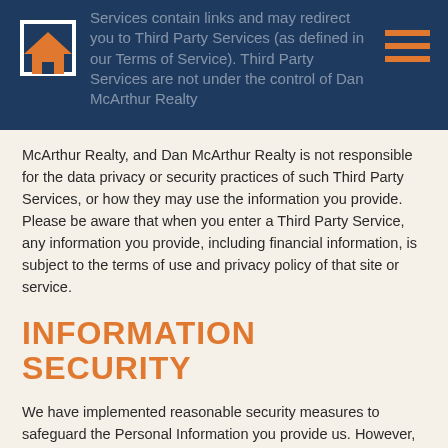Services contain links and may redirect you to Third Party Services (as defined in our Terms of Service). Third Party Services are not under the control of Dan McArthur Realty
McArthur Realty, and Dan McArthur Realty is not responsible for the data privacy or security practices of such Third Party Services, or how they may use the information you provide.  Please be aware that when you enter a Third Party Service, any information you provide, including financial information, is subject to the terms of use and privacy policy of that site or service.
INFORMATION SECURITY
We have implemented reasonable security measures to safeguard the Personal Information you provide us. However, please keep in mind that we cannot be liable for the actions of third parties to whom we may transfer your Personal Information in accordance with this Policy.